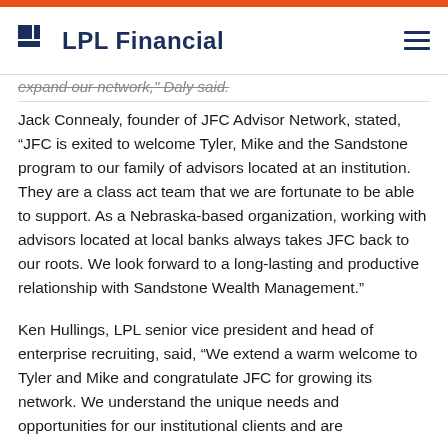LPL Financial
expand our network, Daly said.
Jack Connealy, founder of JFC Advisor Network, stated, “JFC is exited to welcome Tyler, Mike and the Sandstone program to our family of advisors located at an institution. They are a class act team that we are fortunate to be able to support. As a Nebraska-based organization, working with advisors located at local banks always takes JFC back to our roots. We look forward to a long-lasting and productive relationship with Sandstone Wealth Management.”
Ken Hullings, LPL senior vice president and head of enterprise recruiting, said, “We extend a warm welcome to Tyler and Mike and congratulate JFC for growing its network. We understand the unique needs and opportunities for our institutional clients and are